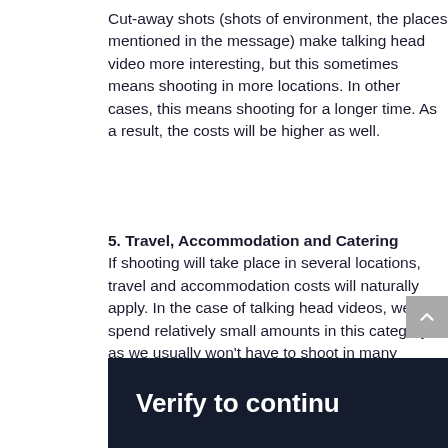Cut-away shots (shots of environment, the places mentioned in the message) make talking head video more interesting, but this sometimes means shooting in more locations. In other cases, this means shooting for a longer time. As a result, the costs will be higher as well.
5. Travel, Accommodation and Catering
If shooting will take place in several locations, travel and accommodation costs will naturally apply. In the case of talking head videos, we will spend relatively small amounts in this category as we usually won't have to shoot in many locations.
[Figure (screenshot): Dark navy background image with bold white text reading 'Verify to continu' (truncated at right edge), with a partially visible icon below.]